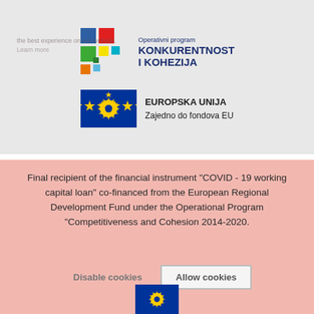[Figure (logo): Operativni program KONKURENTNOST I KOHEZIJA logo with colorful squares and text]
[Figure (logo): European Union flag logo with EUROPSKA UNIJA / Zajedno do fondova EU text]
Final recipient of the financial instrument "COVID - 19 working capital loan" co-financed from the European Regional Development Fund under the Operational Program "Competitiveness and Cohesion 2014-2020.
[Figure (logo): European Union flag with Europska unija label at bottom]